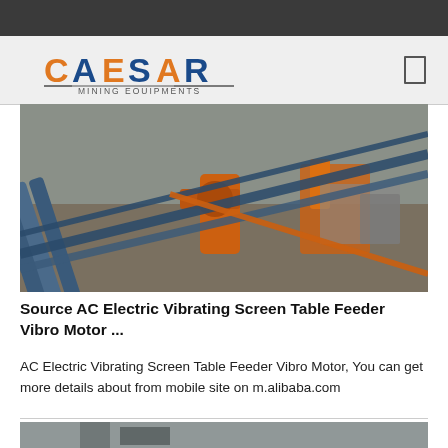[Figure (logo): Caesar Mining Equipments logo with orange and blue text on light background]
[Figure (photo): Industrial mining conveyor belt equipment at a construction/mining site with blue metal rails and orange machinery]
Source AC Electric Vibrating Screen Table Feeder Vibro Motor ...
AC Electric Vibrating Screen Table Feeder Vibro Motor, You can get more details about from mobile site on m.alibaba.com
[Figure (photo): Partial view of another mining equipment image at the bottom of the page]